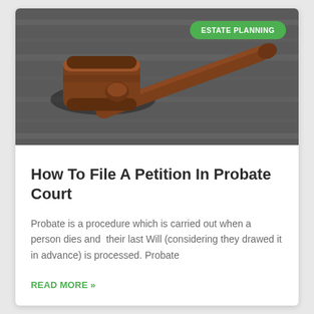[Figure (photo): A wooden judge's gavel lying on a dark wooden surface, viewed from above at an angle. The gavel handle extends to the right.]
How To File A Petition In Probate Court
Probate is a procedure which is carried out when a person dies and  their last Will (considering they drawed it in advance) is processed. Probate
READ MORE »